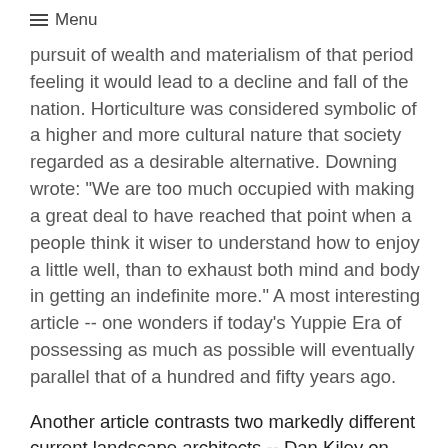≡ Menu
pursuit of wealth and materialism of that period feeling it would lead to a decline and fall of the nation. Horticulture was considered symbolic of a higher and more cultural nature that society regarded as a desirable alternative. Downing wrote: "We are too much occupied with making a great deal to have reached that point when a people think it wiser to understand how to enjoy a little well, than to exhaust both mind and body in getting an indefinite more." A most interesting article -- one wonders if today's Yuppie Era of possessing as much as possible will eventually parallel that of a hundred and fifty years ago.
Another article contrasts two markedly different current landscape architects -- Dan Kiley on formal design and A. E. Bye (who recently spoke in North Carolina at the Davidson College Horticultural Symposium -- I've never heard such rave reviews for a presentation from those